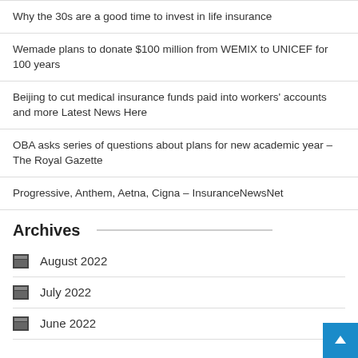Why the 30s are a good time to invest in life insurance
Wemade plans to donate $100 million from WEMIX to UNICEF for 100 years
Beijing to cut medical insurance funds paid into workers' accounts and more Latest News Here
OBA asks series of questions about plans for new academic year – The Royal Gazette
Progressive, Anthem, Aetna, Cigna – InsuranceNewsNet
Archives
August 2022
July 2022
June 2022